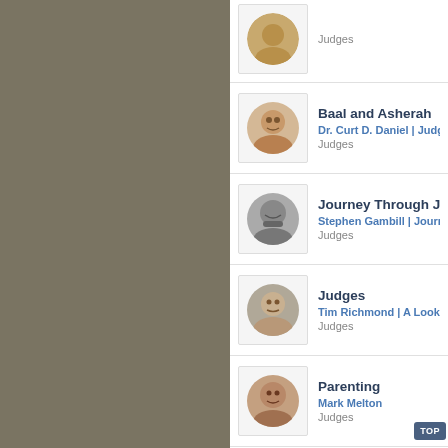Judges
Baal and Asherah | Dr. Curt D. Daniel | Judges | Judges
Journey Through Judg... | Stephen Gambill | Journey Th... | Judges
Judges | Tim Richmond | A Look at Om... | Judges
Parenting | Mark Melton | Judges
08 - ???????? - God's Pla... | Our Pastor | Judges